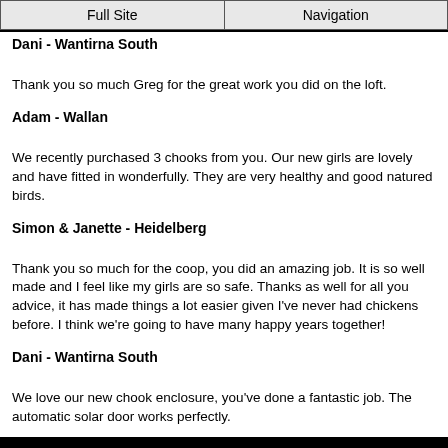Full Site | Navigation
Dani - Wantirna South
Thank you so much Greg for the great work you did on the loft.
Adam - Wallan
We recently purchased 3 chooks from you. Our new girls are lovely and have fitted in wonderfully. They are very healthy and good natured birds.
Simon & Janette - Heidelberg
Thank you so much for the coop, you did an amazing job. It is so well made and I feel like my girls are so safe. Thanks as well for all you advice, it has made things a lot easier given I've never had chickens before. I think we're going to have many happy years together!
Dani - Wantirna South
We love our new chook enclosure, you've done a fantastic job. The automatic solar door works perfectly.